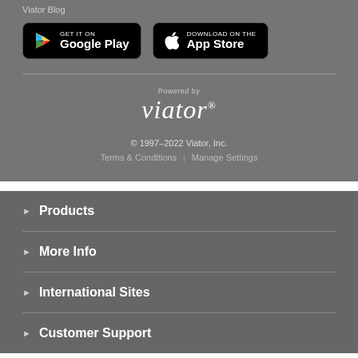Viator Blog
[Figure (logo): Google Play store badge - black button with Google Play triangle logo and text 'GET IT ON Google Play']
[Figure (logo): Apple App Store badge - black button with Apple logo and text 'Download on the App Store']
[Figure (logo): Viator logo - 'Powered by' text above stylized 'viator' wordmark with registered trademark]
© 1997–2022 Viator, Inc.
Terms & Conditions | Manage Settings
Products
More Info
International Sites
Customer Support